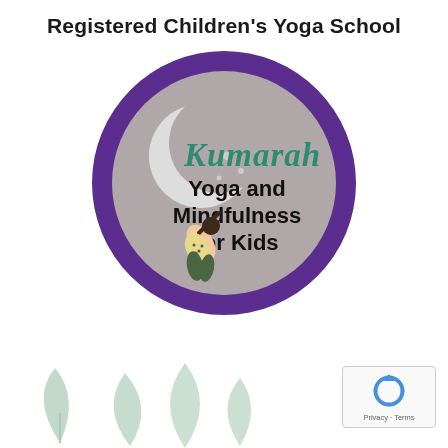Registered Children's Yoga School
[Figure (logo): Kumarah Yoga and Mindfulness for Kids logo — circular badge with purple border, grey background, white crescent moon, teal 'Kumarah' text, black 'Yoga and Mindfulness for Kids' text, and a figure doing a yoga pose in the foreground.]
[Figure (illustration): Decorative light teal/mint leaf and flame shapes at the bottom of the page.]
[Figure (logo): reCAPTCHA icon with 'Privacy · Terms' text below.]